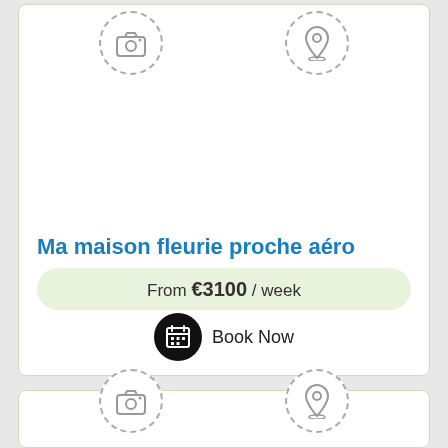[Figure (screenshot): Vacation rental listing card showing 'Ma maison fleurie proche aéro' with price from €3100/week and a Book Now button. Two icon placeholders (camera and location pin) appear at the top of the card. A second card begins at the bottom.]
Ma maison fleurie proche aéro
From €3100 / week
Book Now